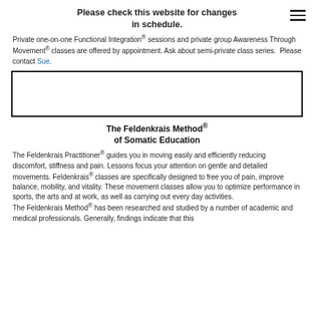Please check this website for changes in schedule.
Private one-on-one Functional Integration® sessions and private group Awareness Through Movement® classes are offered by appointment. Ask about semi-private class series.  Please contact Sue.
[Figure (photo): Empty white box with thick border, likely a placeholder for an image or embedded content.]
The Feldenkrais Method® of Somatic Education
The Feldenkrais Practitioner® guides you in moving easily and efficiently reducing discomfort, stiffness and pain. Lessons focus your attention on gentle and detailed movements. Feldenkrais® classes are specifically designed to free you of pain, improve balance, mobility, and vitality. These movement classes allow you to optimize performance in sports, the arts and at work, as well as carrying out every day activities. The Feldenkrais Method® has been researched and studied by a number of academic and medical professionals. Generally, findings indicate that this